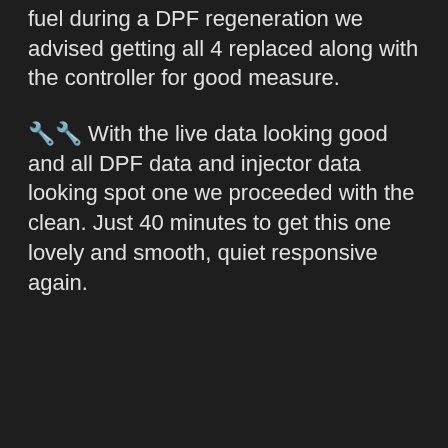fuel during a DPF regeneration we advised getting all 4 replaced along with the controller for good measure.
🔧🔧 With the live data looking good and all DPF data and injector data looking spot one we proceeded with the clean. Just 40 minutes to get this one lovely and smooth, quiet responsive again.